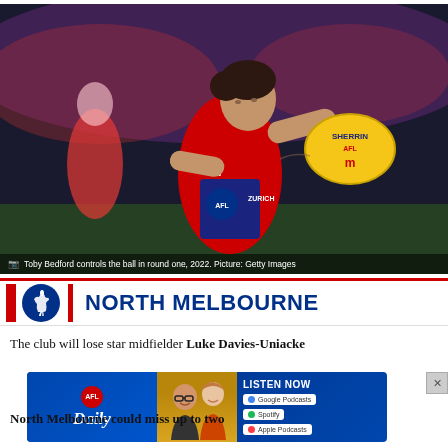[Figure (photo): AFL player Toby Bedford in Melbourne Demons red and blue jersey controlling a yellow Sherrin AFL ball during round one 2022, with other players blurred in background]
Toby Bedford controls the ball in round one, 2022. Picture: Getty Images
[Figure (logo): North Melbourne AFC banner with kangaroo logo in blue and red, text reading NORTH MELBOURNE in bold dark blue]
The club will lose star midfielder Luke Davies-Uniacke
[Figure (screenshot): AFL Daily podcast advertisement banner with logo, two hosts, Listen Now text, and Google Podcasts, Spotify, Apple Podcasts buttons]
North Melbourne could miss up to two